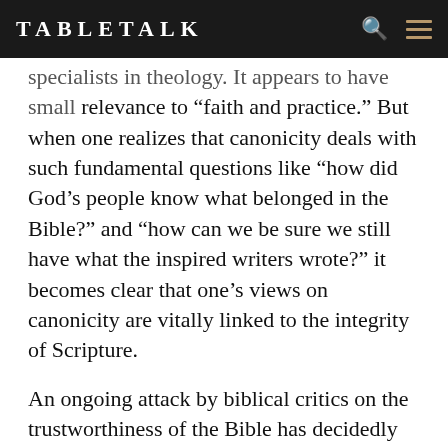TABLETALK
specialists in theology. It appears to have small relevance to “faith and practice.” But when one realizes that canonicity deals with such fundamental questions like “how did God’s people know what belonged in the Bible?” and “how can we be sure we still have what the inspired writers wrote?” it becomes clear that one’s views on canonicity are vitally linked to the integrity of Scripture.
An ongoing attack by biblical critics on the trustworthiness of the Bible has decidedly focused on the canonization of Scripture, particularly the Old Testament. Some critics suggest that the Old Testament canon, those thirty-nine books that